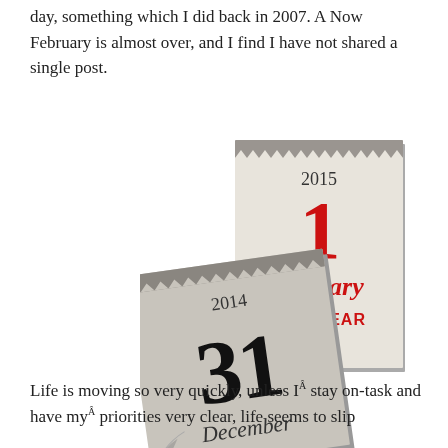day, something which I did back in 2007. A Now February is almost over, and I find I have not shared a single post.
[Figure (illustration): Two calendar pages overlapping: back calendar shows 2015, January 1, NEW YEAR in red on cream/off-white background with torn top edge; front calendar shows 2014, December 31 in black on grey background with torn top edge and curled bottom-left corner.]
Life is moving so very quickly, unless IÂ stay on-task and have myÂ priorities very clear, life seems to slip